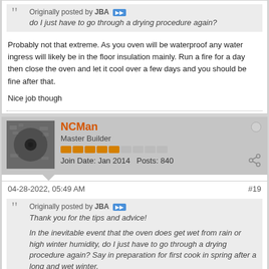Originally posted by JBA
do I just have to go through a drying procedure again?
Probably not that extreme. As you oven will be waterproof any water ingress will likely be in the floor insulation mainly. Run a fire for a day then close the oven and let it cool over a few days and you should be fine after that.

Nice job though
NCMan
Master Builder
Join Date: Jan 2014   Posts: 840
04-28-2022, 05:49 AM
#19
Originally posted by JBA
Thank you for the tips and advice!

In the inevitable event that the oven does get wet from rain or high winter humidity, do I just have to go through a drying procedure again? Say in preparation for first cook in spring after a long and wet winter.